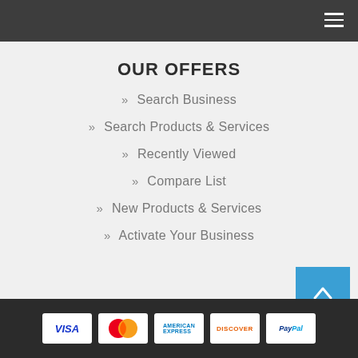Navigation menu header bar
OUR OFFERS
» Search Business
» Search Products & Services
» Recently Viewed
» Compare List
» New Products & Services
» Activate Your Business
Payment methods: VISA, Mastercard, American Express, Discover, PayPal